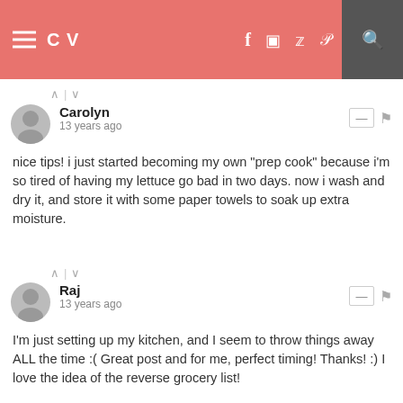LC v  [social icons: f, instagram, twitter, pinterest] [search icon]
Carolyn
13 years ago
nice tips! i just started becoming my own "prep cook" because i'm so tired of having my lettuce go bad in two days. now i wash and dry it, and store it with some paper towels to soak up extra moisture.
Raj
13 years ago
I'm just setting up my kitchen, and I seem to throw things away ALL the time :( Great post and for me, perfect timing! Thanks! :) I love the idea of the reverse grocery list!
Jess LC
13 years ago
What a great post! I can't wait to use several of these ideas